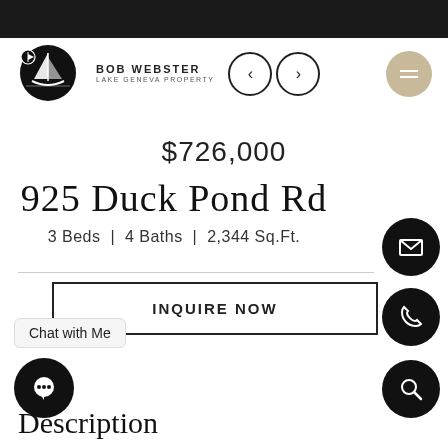[Figure (logo): Bob Webster Lake Geneva Property logo with sailboat icon and navigation arrows]
$726,000
925 Duck Pond Rd
3 Beds | 4 Baths | 2,344 Sq.Ft.
Chat with Me
INQUIRE NOW
Description